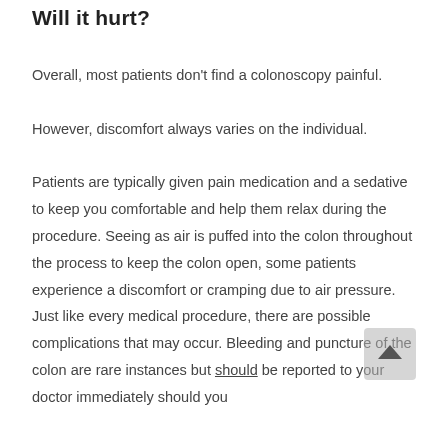Will it hurt?
Overall, most patients don't find a colonoscopy painful. However, discomfort always varies on the individual. Patients are typically given pain medication and a sedative to keep you comfortable and help them relax during the procedure. Seeing as air is puffed into the colon throughout the process to keep the colon open, some patients experience a discomfort or cramping due to air pressure. Just like every medical procedure, there are possible complications that may occur. Bleeding and puncture of the colon are rare instances but should be reported to your doctor immediately should you